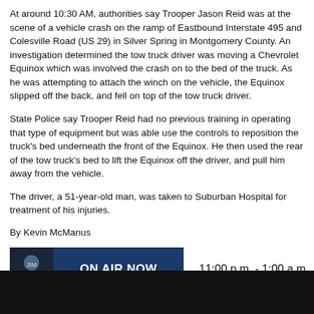At around 10:30 AM, authorities say Trooper Jason Reid was at the scene of a vehicle crash on the ramp of Eastbound Interstate 495 and Colesville Road (US 29) in Silver Spring in Montgomery County. An investigation determined the tow truck driver was moving a Chevrolet Equinox which was involved the crash on to the bed of the truck. As he was attempting to attach the winch on the vehicle, the Equinox slipped off the back, and fell on top of the tow truck driver.
State Police say Trooper Reid had no previous training in operating that type of equipment but was able use the controls to reposition the truck's bed underneath the front of the Equinox. He then used the rear of the tow truck's bed to lift the Equinox off the driver, and pull him away from the vehicle.
The driver, a 51-year-old man, was taken to Suburban Hospital for treatment of his injuries.
By Kevin McManus
[Figure (infographic): On Air Now banner with host thumbnail, blue ON AIR NOW button, and time 11:00 p.m. - 1:00 a.m.]
Jim Bohannon